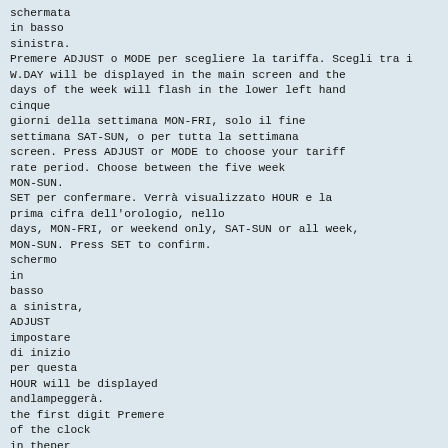schermata
in basso
sinistra.
Premere ADJUST o MODE per scegliere la tariffa. Scegli tra i
W.DAY will be displayed in the main screen and the days of the week will flash in the lower left hand
cinque
giorni della settimana MON-FRI, solo il fine settimana SAT-SUN, o per tutta la settimana
screen. Press ADJUST or MODE to choose your tariff rate period. Choose between the five week
MON-SUN.
SET per confermare. Verrà visualizzato HOUR e la prima cifra dell'orologio, nello
days, MON-FRI, or weekend only, SAT-SUN or all week, MON-SUN. Press SET to confirm.
schermo
in
basso
a sinistra,
ADJUST
impostare
di inizio
per questa
HOUR will be displayed
andlampeggerà.
the first digit Premere
of the clock
in theper
lower
left handl'ora
screen